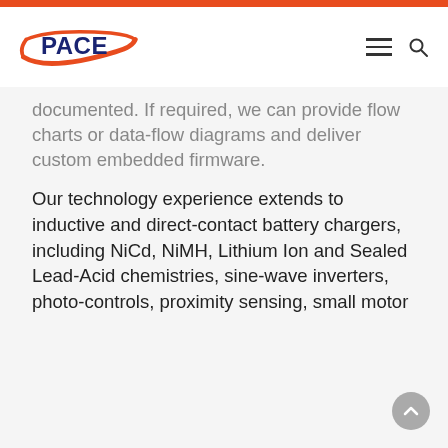[Figure (logo): PACE company logo with red oval swoosh and dark blue bold PACE text]
documented. If required, we can provide flow charts or data-flow diagrams and deliver custom embedded firmware.
Our technology experience extends to inductive and direct-contact battery chargers, including NiCd, NiMH, Lithium Ion and Sealed Lead-Acid chemistries, sine-wave inverters, photo-controls, proximity sensing, small motor